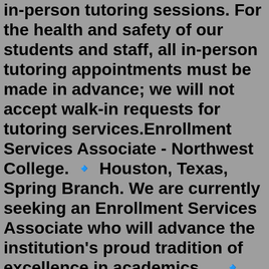in-person tutoring sessions. For the health and safety of our students and staff, all in-person tutoring appointments must be made in advance; we will not accept walk-in requests for tutoring services.Enrollment Services Associate - Northwest College. 🔹 Houston, Texas, Spring Branch. We are currently seeking an Enrollment Services Associate who will advance the institution's proud tradition of excellence in academics,... 🔹 Managerial & Professional. 22001SI.For More Small Business News & Opportunities Upcoming Around the HCC District: Such as: Export Academy, Shark Tank Ideas Pitch Competition, Bold Ideas Competition..HCC Small Business News, etc… Contact Center for Entrepreneurship - West Houston at c4e@hccs.edu or call 713-252-2419.Returning Students Enroll Now. Student Sign-In. Support Services. HCC Virtual Lobby. Class Search. Campus Map. Calendar. Course Catalog. Eagle Online Canvas.HOUSTON COMMUNITY COLLEGE Introductory Nutrition /BIOL 1322 / CRN 17372 SPRING 2021- Regular